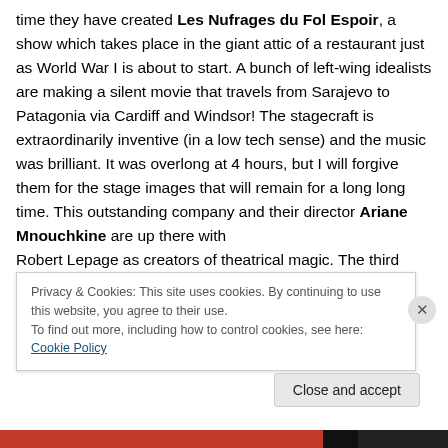time they have created Les Nufrages du Fol Espoir, a show which takes place in the giant attic of a restaurant just as World War I is about to start. A bunch of left-wing idealists are making a silent movie that travels from Sarajevo to Patagonia via Cardiff and Windsor! The stagecraft is extraordinarily inventive (in a low tech sense) and the music was brilliant. It was overlong at 4 hours, but I will forgive them for the stage images that will remain for a long long time. This outstanding company and their director Ariane Mnouchkine are up there with Robert Lepage as creators of theatrical magic. The third
Privacy & Cookies: This site uses cookies. By continuing to use this website, you agree to their use.
To find out more, including how to control cookies, see here: Cookie Policy
Close and accept